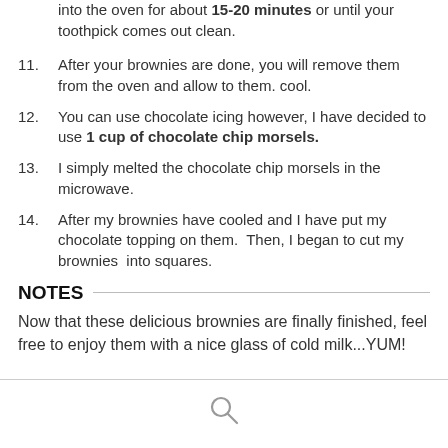into the oven for about 15-20 minutes or until your toothpick comes out clean.
11. After your brownies are done, you will remove them from the oven and allow to them. cool.
12. You can use chocolate icing however, I have decided to use 1 cup of chocolate chip morsels.
13. I simply melted the chocolate chip morsels in the microwave.
14. After my brownies have cooled and I have put my chocolate topping on them.  Then, I began to cut my brownies  into squares.
NOTES
Now that these delicious brownies are finally finished, feel free to enjoy them with a nice glass of cold milk...YUM!